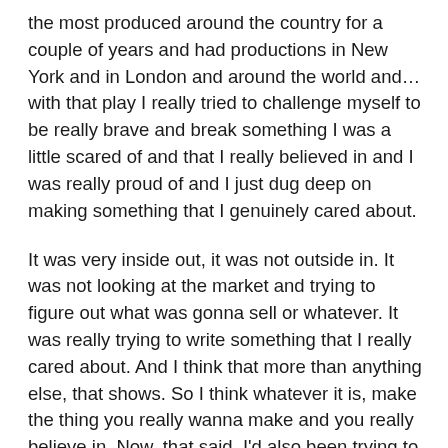the most produced around the country for a couple of years and had productions in New York and in London and around the world and…with that play I really tried to challenge myself to be really brave and break something I was a little scared of and that I really believed in and I was really proud of and I just dug deep on making something that I genuinely cared about.
It was very inside out, it was not outside in. It was not looking at the market and trying to figure out what was gonna sell or whatever. It was really trying to write something that I really cared about. And I think that more than anything else, that shows. So I think whatever it is, make the thing you really wanna make and you really believe in. Now, that said, I'd also been trying to shop around a play with 12 people. Well, no one wants to produce a play with 12 people right now, it's to expensive.